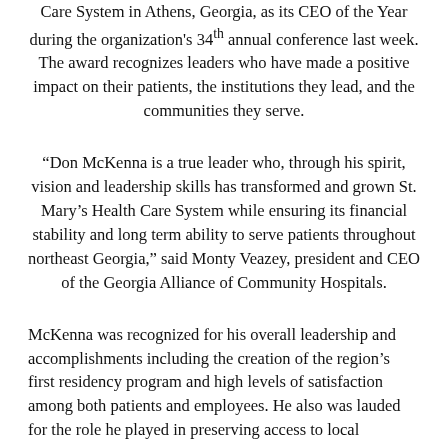Care System in Athens, Georgia, as its CEO of the Year during the organization's 34th annual conference last week. The award recognizes leaders who have made a positive impact on their patients, the institutions they lead, and the communities they serve.
“Don McKenna is a true leader who, through his spirit, vision and leadership skills has transformed and grown St. Mary’s Health Care System while ensuring its financial stability and long term ability to serve patients throughout northeast Georgia,” said Monty Veazey, president and CEO of the Georgia Alliance of Community Hospitals.
McKenna was recognized for his overall leadership and accomplishments including the creation of the region’s first residency program and high levels of satisfaction among both patients and employees. He also was lauded for the role he played in preserving access to local